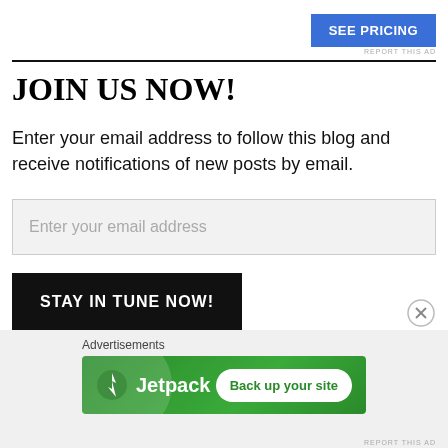[Figure (other): Blue 'SEE PRICING' button in upper right corner]
REPORT THIS AD
JOIN US NOW!
Enter your email address to follow this blog and receive notifications of new posts by email.
Enter your email address
STAY IN TUNE NOW!
Advertisements
[Figure (logo): Jetpack advertisement banner with green background, Jetpack logo on left and 'Back up your site' button on right]
REPORT THIS AD